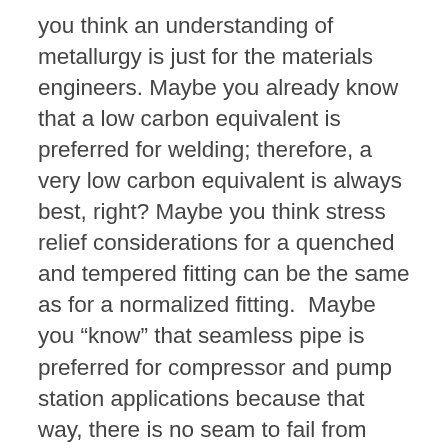you think an understanding of metallurgy is just for the materials engineers. Maybe you already know that a low carbon equivalent is preferred for welding; therefore, a very low carbon equivalent is always best, right? Maybe you think stress relief considerations for a quenched and tempered fitting can be the same as for a normalized fitting.  Maybe you “know” that seamless pipe is preferred for compressor and pump station applications because that way, there is no seam to fail from fatigue.  Maybe you “know” that X70 is more difficult to weld than X52 because it is harder and stronger.  Maybe you “know” that Lab “A” is wrong because their tensile test results are different from those of Lab